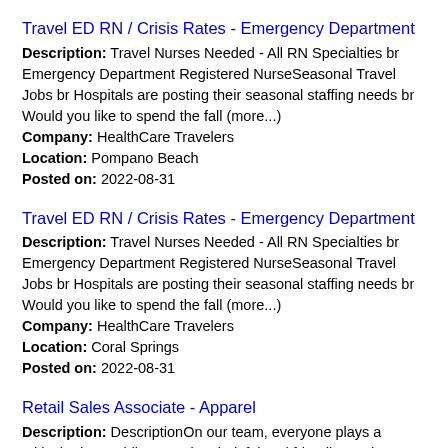Travel ED RN / Crisis Rates - Emergency Department
Description: Travel Nurses Needed - All RN Specialties br Emergency Department Registered NurseSeasonal Travel Jobs br Hospitals are posting their seasonal staffing needs br Would you like to spend the fall (more...) Company: HealthCare Travelers Location: Pompano Beach Posted on: 2022-08-31
Travel ED RN / Crisis Rates - Emergency Department
Description: Travel Nurses Needed - All RN Specialties br Emergency Department Registered NurseSeasonal Travel Jobs br Hospitals are posting their seasonal staffing needs br Would you like to spend the fall (more...) Company: HealthCare Travelers Location: Coral Springs Posted on: 2022-08-31
Retail Sales Associate - Apparel
Description: DescriptionOn our team, everyone plays a critical role providing genuine, helpful and friendly service to help our athletes perform at their best and enjoy their sport. We're committed to creating an (more...) Company: DICK'S Sporting Goods Location: Coral Springs Posted on: 2022-08-26